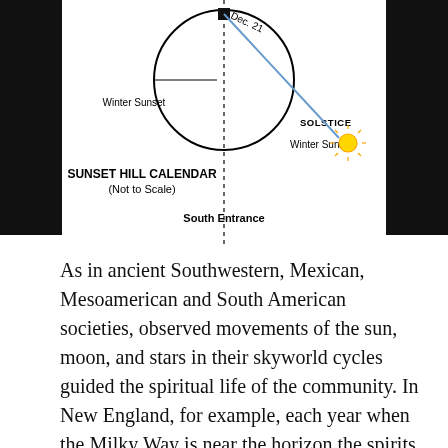[Figure (schematic): Sunset Hill Calendar diagram (Not to Scale) showing a circular calendar with Winter Sunset label on the left, Dec. 21 at the top, South Entrance at the bottom center, Winter Sunrise and SOLSTICE labels on the right with a sun icon, and directional lines indicating solar alignments.]
As in ancient Southwestern, Mexican, Mesoamerican and South American societies, observed movements of the sun, moon, and stars in their skyworld cycles guided the spiritual life of the community. In New England, for example, each year when the Milky Way is near the horizon the spirits of the deceased could find their way to the skyworld on the starry path under a nearby constellation's protection from underworld spirits. Astronomical observations also guided